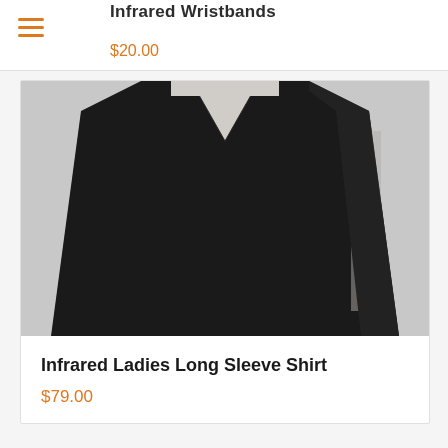Infrared Wristbands
$20.00
[Figure (photo): Photo of a black ladies long sleeve v-neck shirt on a light background]
Infrared Ladies Long Sleeve Shirt
$79.00